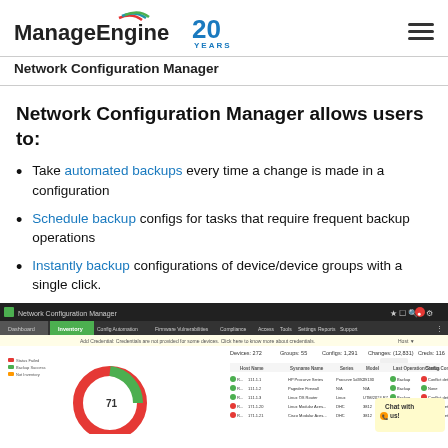ManageEngine | Network Configuration Manager
Network Configuration Manager allows users to:
Take automated backups every time a change is made in a configuration
Schedule backup configs for tasks that require frequent backup operations
Instantly backup configurations of device/device groups with a single click.
[Figure (screenshot): Network Configuration Manager web application interface showing Inventory dashboard with device list, donut chart showing 71 devices, and navigation bar with tabs for Dashboard, Inventory, Config Automation, Firmware Vulnerabilities, Compliance, Access, Tools, Settings, Reports, Support.]